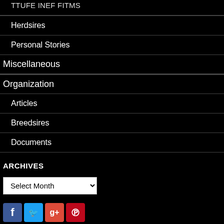Herdsires
Personal Stories
Miscellaneous
Organization
Articles
Breedsires
Documents
ARCHIVES
Select Month